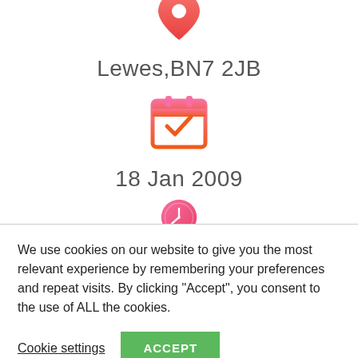[Figure (illustration): Pink/red location pin icon (partially visible at top)]
Lewes,BN7 2JB
[Figure (illustration): Pink/orange calendar icon with a pink checkmark]
18 Jan 2009
[Figure (illustration): Pink clock icon (partially visible, cut off by divider)]
We use cookies on our website to give you the most relevant experience by remembering your preferences and repeat visits. By clicking “Accept”, you consent to the use of ALL the cookies.
Cookie settings
ACCEPT